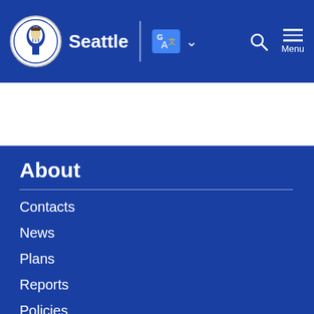Seattle — City of Seattle navigation header with logo, translate button, search and menu icons
About
Contacts
News
Plans
Reports
Policies
Careers